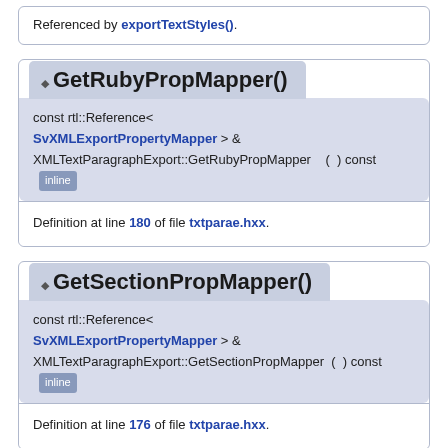Referenced by exportTextStyles().
◆ GetRubyPropMapper()
const rtl::Reference< SvXMLExportPropertyMapper > & XMLTextParagraphExport::GetRubyPropMapper ( ) const inline
Definition at line 180 of file txtparae.hxx.
◆ GetSectionPropMapper()
const rtl::Reference< SvXMLExportPropertyMapper > & XMLTextParagraphExport::GetSectionPropMapper ( ) const inline
Definition at line 176 of file txtparae.hxx.